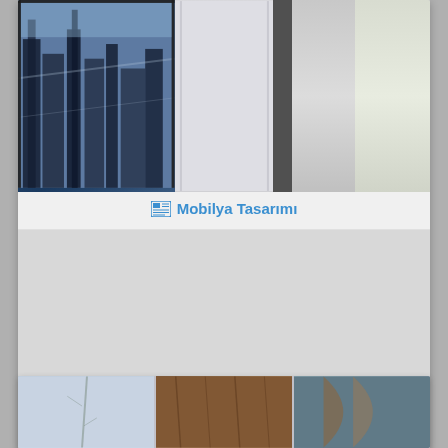[Figure (photo): Top portion of a card showing interior/architectural photos: city skyline through glass windows on left, frosted glass panel in center, white/green panels on right]
📰 Mobilya Tasarımı
25.02.19  💬 0  👁 1 366
[Figure (photo): Three thumbnail images at the bottom: snowy branch on left, wooden panel texture in center, curved wooden architecture on right]